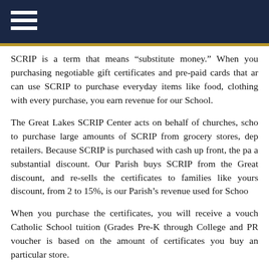SCRIP is a term that means "substitute money." When you purchasing negotiable gift certificates and pre-paid cards that ar can use SCRIP to purchase everyday items like food, clothing with every purchase, you earn revenue for our School.
The Great Lakes SCRIP Center acts on behalf of churches, scho to purchase large amounts of SCRIP from grocery stores, dep retailers. Because SCRIP is purchased with cash up front, the pa a substantial discount. Our Parish buys SCRIP from the Great discount, and re-sells the certificates to families like yours discount, from 2 to 15%, is our Parish's revenue used for Schoo
When you purchase the certificates, you will receive a vouch Catholic School tuition (Grades Pre-K through College and PR voucher is based on the amount of certificates you buy an particular store.
You do not need to have children in school to participate in t You may select to help a particular school family or designa